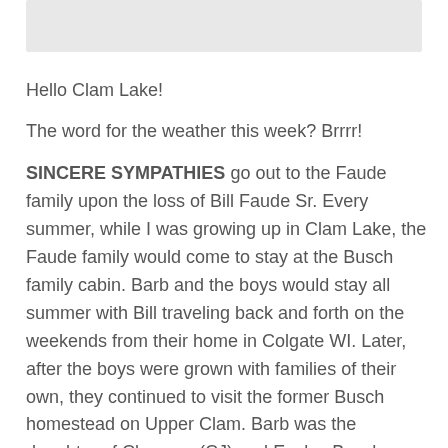[Figure (photo): Partial image placeholder at top of page, light gray rectangular area]
Hello Clam Lake!
The word for the weather this week? Brrrr!
SINCERE SYMPATHIES go out to the Faude family upon the loss of Bill Faude Sr. Every summer, while I was growing up in Clam Lake, the Faude family would come to stay at the Busch family cabin. Barb and the boys would stay all summer with Bill traveling back and forth on the weekends from their home in Colgate WI. Later, after the boys were grown with families of their own, they continued to visit the former Busch homestead on Upper Clam. Barb was the daughter of Clarence (CJ) and Evelyn Busch – one of our oldest Clam Lake families. I have so many great memories of their family over